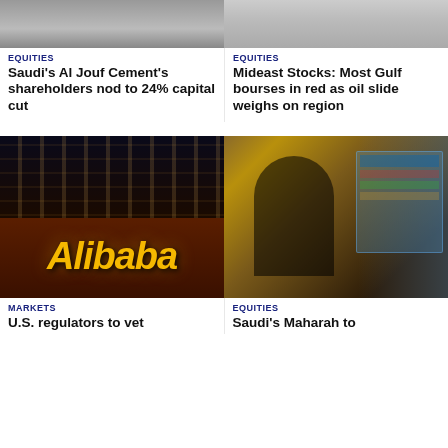[Figure (photo): Cropped photo top left (partially visible)]
[Figure (photo): Cropped photo top right (partially visible, person)]
EQUITIES
Saudi's Al Jouf Cement's shareholders nod to 24% capital cut
EQUITIES
Mideast Stocks: Most Gulf bourses in red as oil slide weighs on region
[Figure (photo): Alibaba illuminated sign at night outside a building]
[Figure (photo): Saudi trader in traditional dress looking at stock market screens]
MARKETS
U.S. regulators to vet
EQUITIES
Saudi's Maharah to